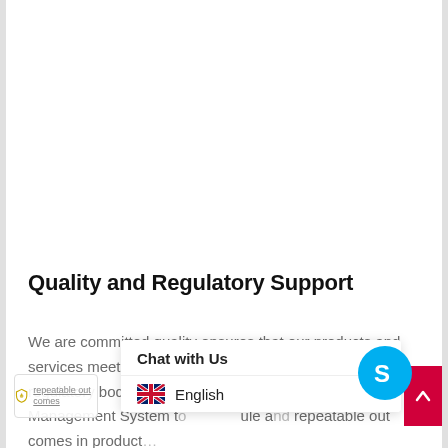Quality and Regulatory Support
We are committed quality ensures that our products and services meet applicable standards as per international regulatory bodies. We have imp... De... Quality Management System t... ...ule a... repeatable out comes in product...
[Figure (screenshot): Chat with Us widget overlay with English language selector, Skype button, red scroll-to-top button, and privacy shield badge]